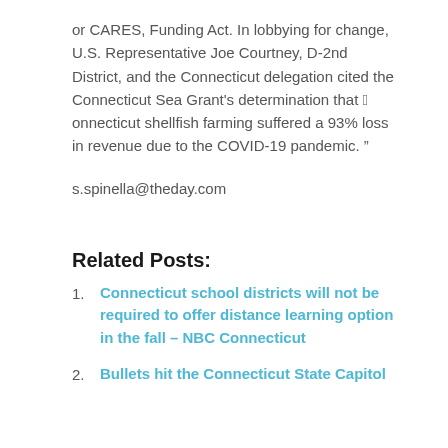or CARES, Funding Act. In lobbying for change, U.S. Representative Joe Courtney, D-2nd District, and the Connecticut delegation cited the Connecticut Sea Grant's determination that “Connecticut shellfish farming suffered a 93% loss in revenue due to the COVID-19 pandemic. ”
s.spinella@theday.com
Related Posts:
Connecticut school districts will not be required to offer distance learning option in the fall – NBC Connecticut
Bullets hit the Connecticut State Capitol